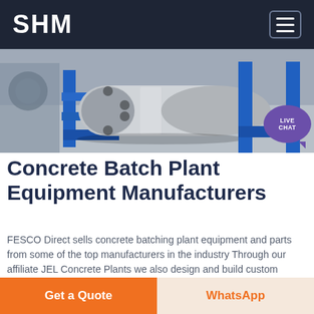SHM
[Figure (photo): Industrial concrete batch plant equipment — a heavy metal cylindrical roller/drum component on a blue steel frame, photographed on a concrete floor in a manufacturing facility.]
Concrete Batch Plant Equipment Manufacturers
FESCO Direct sells concrete batching plant equipment and parts from some of the top manufacturers in the industry Through our affiliate JEL Concrete Plants we also design and build custom concrete batching plants and equipment For most small to mid sized concrete producers our engineering staff will source equipment and parts for any size
Get a Quote
WhatsApp